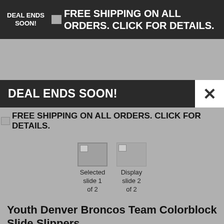DEAL ENDS SOON! FREE SHIPPING ON ALL ORDERS. CLICK FOR DETAILS.
DEAL ENDS SOON!
FREE SHIPPING ON ALL ORDERS. CLICK FOR DETAILS.
[Figure (screenshot): Slide thumbnails: Selected slide 1 of 2, Display slide 2 of 2]
Youth Denver Broncos Team Colorblock Slide Slippers
In Stock - This item will ship within 1 business day.
Reduced: $14.99
Regular: $16.99